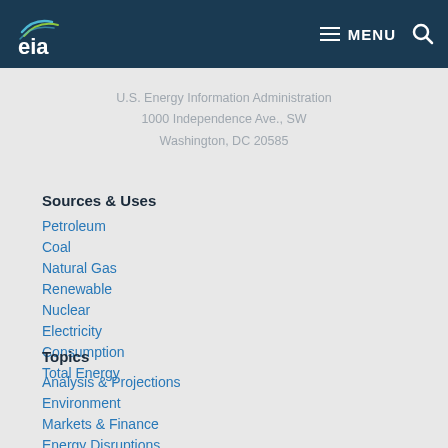EIA | U.S. Energy Information Administration | MENU
U.S. Energy Information Administration
1000 Independence Ave., SW
Washington, DC 20585
Sources & Uses
Petroleum
Coal
Natural Gas
Renewable
Nuclear
Electricity
Consumption
Total Energy
Topics
Analysis & Projections
Environment
Markets & Finance
Energy Disruptions